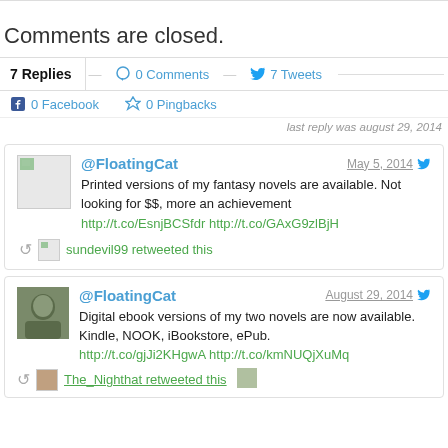Comments are closed.
7 Replies — 0 Comments — 7 Tweets
0 Facebook   0 Pingbacks
last reply was august 29, 2014
@FloatingCat May 5, 2014 — Printed versions of my fantasy novels are available. Not looking for $$, more an achievement http://t.co/EsnjBCSfdr http://t.co/GAxG9zlBjH — sundevil99 retweeted this
@FloatingCat August 29, 2014 — Digital ebook versions of my two novels are now available. Kindle, NOOK, iBookstore, ePub. http://t.co/gjJi2KHgwA http://t.co/kmNUQjXuMq — The_Nighthat retweeted this